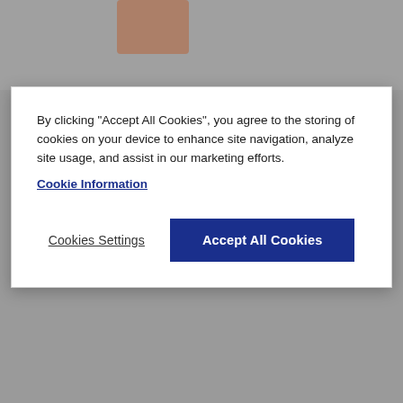[Figure (screenshot): Grey background with partial product image visible at top]
By clicking "Accept All Cookies", you agree to the storing of cookies on your device to enhance site navigation, analyze site usage, and assist in our marketing efforts.
Cookie Information
Cookies Settings
Accept All Cookies
Click to zoom
Sleek and subtle prints
Experience the smooth and natural finish of this hot press, cotton-based archival paper, that will faithfully reproduce colours, tones and details - and secure them for years to come. You can expect a fuss-free experience as they're designed to work seamlessly with Epson's range of pigment-based ink printers.